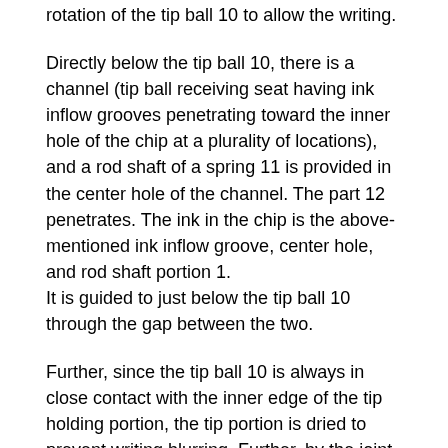rotation of the tip ball 10 to allow the writing.
Directly below the tip ball 10, there is a channel (tip ball receiving seat having ink inflow grooves penetrating toward the inner hole of the chip at a plurality of locations), and a rod shaft of a spring 11 is provided in the center hole of the channel. The part 12 penetrates. The ink in the chip is the above-mentioned ink inflow groove, center hole, and rod shaft portion 1.
It is guided to just below the tip ball 10 through the gap between the two.
Further, since the tip ball 10 is always in close contact with the inner edge of the tip holding portion, the tip portion is dried to prevent writing blurring. Further, by the joint action of the tip ball 10 and the ball valve 13, even if an upward writing or an impact is applied, the entrainment of air is alleviated, so that blurring of writing is prevented. The direct current and the reverse flow of the ink are achieved by pressing the tip ball 10 by the spring 11, but the incomplete close contact with the tip ball 10 due to the processing variation of the tip holding part or the tip holding part and the tip ball 10 are caused. Jointly to complement the incomplete contact state when solid matter adheres to